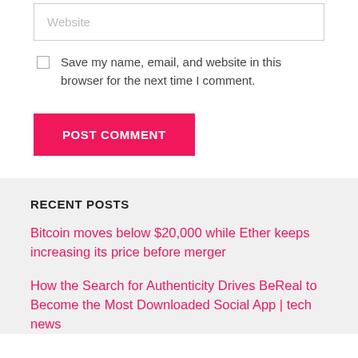Website
Save my name, email, and website in this browser for the next time I comment.
POST COMMENT
RECENT POSTS
Bitcoin moves below $20,000 while Ether keeps increasing its price before merger
How the Search for Authenticity Drives BeReal to Become the Most Downloaded Social App | tech news